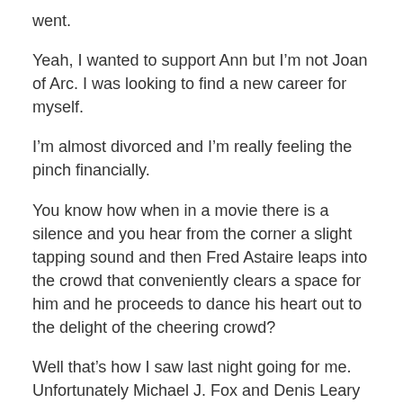went.
Yeah, I wanted to support Ann but I'm not Joan of Arc. I was looking to find a new career for myself.
I'm almost divorced and I'm really feeling the pinch financially.
You know how when in a movie there is a silence and you hear from the corner a slight tapping sound and then Fred Astaire leaps into the crowd that conveniently clears a space for him and he proceeds to dance his heart out to the delight of the cheering crowd?
Well that's how I saw last night going for me. Unfortunately Michael J. Fox and Denis Leary wouldn't shut the fuck up so no one heard my slight tapping. Ergo no clearing and no cheering crowds.